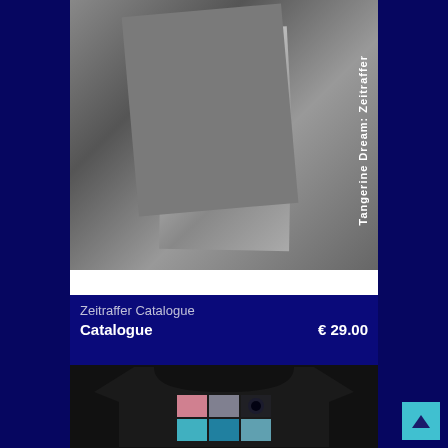[Figure (photo): Tangerine Dream Zeitraffer catalogue cover showing a collage of black-and-white and color album covers/photos with vertical text reading 'Tangerine Dream: Zeitraffer' on the right side]
Zeitraffer Catalogue
Catalogue   € 29.00
[Figure (photo): Black t-shirt with album art grid printed on the front, showing multiple Tangerine Dream album covers in a 2x3 grid arrangement]